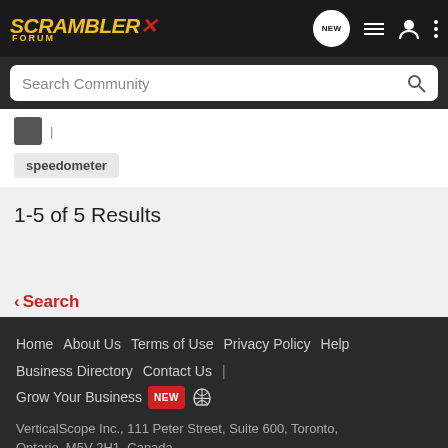SCRAMBLER X FORUM — navigation header with search bar
speedometer
1-5 of 5 Results
< Search
Home   About Us   Terms of Use   Privacy Policy   Help   Business Directory   Contact Us   |   Grow Your Business  NEW  (rss)   VerticalScope Inc., 111 Peter Street, Suite 600, Toronto, Ontario, M5V 2H1, Canada